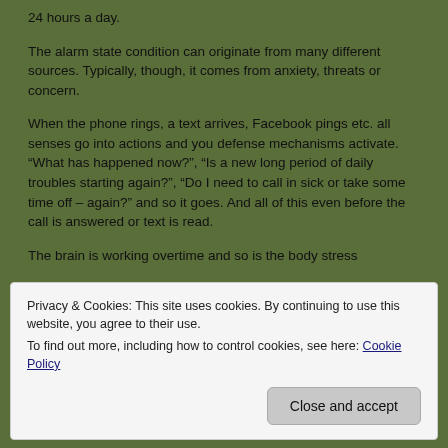24 hours a day.
The alarm state condition can originate from many different sources. Typically, though, it comes from anxiety, threats or concern.
When the phone rings, a text arrives, Facebook pings etc. all senses go into actions and you defense mechanisms activate. “What has happened now?”, “Is a new long period of daily troubles starting again?”, “Do I need to call in sick or take some time off – again?” and so it goes. And all of this even before the call is answered or text is read.
The brain is working overtime and so is the body stress
Privacy & Cookies: This site uses cookies. By continuing to use this website, you agree to their use.
To find out more, including how to control cookies, see here: Cookie Policy